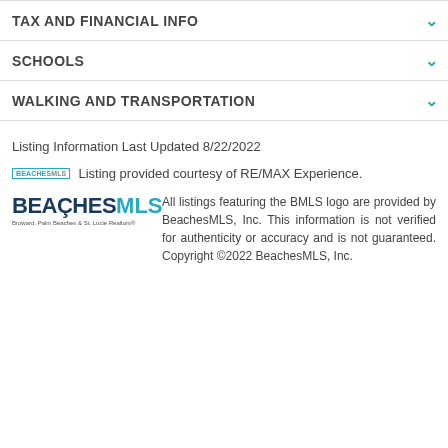TAX AND FINANCIAL INFO
SCHOOLS
WALKING AND TRANSPORTATION
Listing Information Last Updated 8/22/2022
Listing provided courtesy of RE/MAX Experience.
All listings featuring the BMLS logo are provided by BeachesMLS, Inc. This information is not verified for authenticity or accuracy and is not guaranteed. Copyright ©2022 BeachesMLS, Inc.